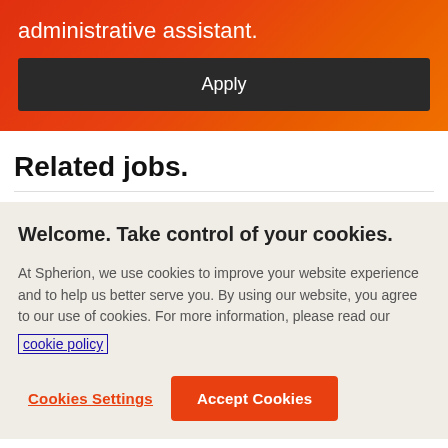administrative assistant.
Apply
Related jobs.
Welcome. Take control of your cookies.
At Spherion, we use cookies to improve your website experience and to help us better serve you. By using our website, you agree to our use of cookies. For more information, please read our cookie policy
Cookies Settings
Accept Cookies